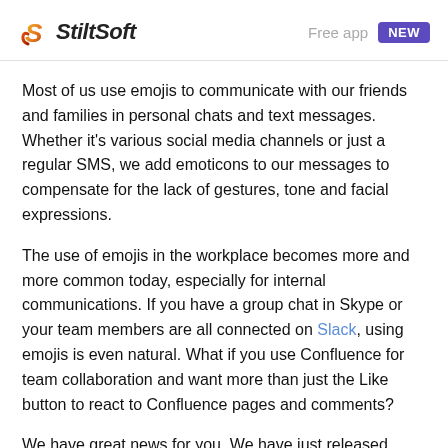StiltSoft — Free app NEW
Most of us use emojis to communicate with our friends and families in personal chats and text messages. Whether it's various social media channels or just a regular SMS, we add emoticons to our messages to compensate for the lack of gestures, tone and facial expressions.
The use of emojis in the workplace becomes more and more common today, especially for internal communications. If you have a group chat in Skype or your team members are all connected on Slack, using emojis is even natural. What if you use Confluence for team collaboration and want more than just the Like button to react to Confluence pages and comments?
We have great news for you. We have just released